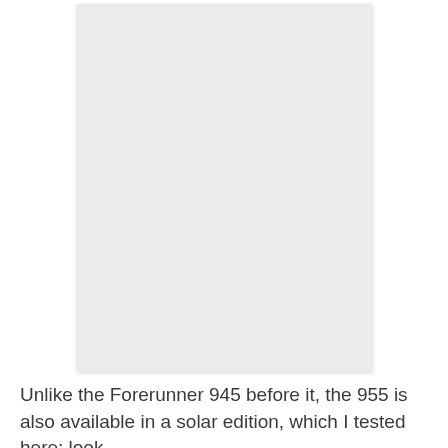[Figure (photo): A large light gray rectangular placeholder image occupying the upper portion of the page.]
Unlike the Forerunner 945 before it, the 955 is also available in a solar edition, which I tested here; look